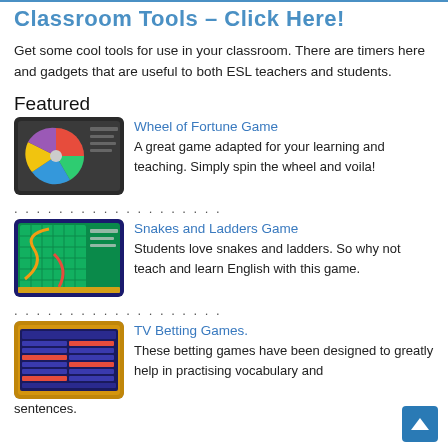Classroom Tools - Click Here!
Get some cool tools for use in your classroom. There are timers here and gadgets that are useful to both ESL teachers and students.
Featured
[Figure (screenshot): Screenshot of Wheel of Fortune Game showing a colorful spinning wheel]
Wheel of Fortune Game
A great game adapted for your learning and teaching. Simply spin the wheel and voila!
[Figure (screenshot): Screenshot of Snakes and Ladders Game board]
Snakes and Ladders Game
Students love snakes and ladders. So why not teach and learn English with this game.
[Figure (screenshot): Screenshot of TV Betting Games interface]
TV Betting Games.
These betting games have been designed to greatly help in practising vocabulary and sentences.